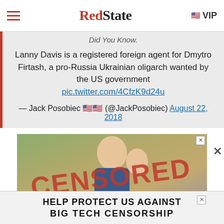RedState | VIP
Did You Know.
Lanny Davis is a registered foreign agent for Dmytro Firtash, a pro-Russia Ukrainian oligarch wanted by the US government pic.twitter.com/4CfzK9d24u — Jack Posobiec 🇺🇸🇺🇸 (@JackPosobiec) August 22, 2018
[Figure (photo): Person waving with CENSORED text overlay, advertisement image]
HELP PROTECT US AGAINST BIG TECH CENSORSHIP